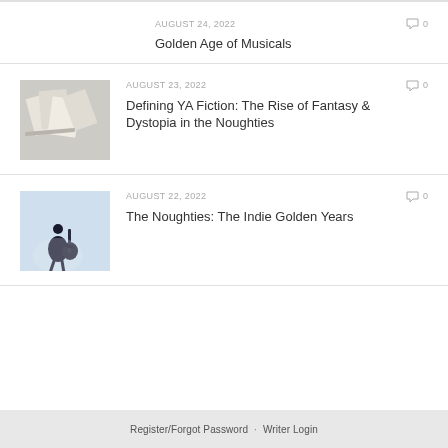AUGUST 24, 2022 | 0 comments
Golden Age of Musicals
AUGUST 23, 2022 | 0 comments
Defining YA Fiction: The Rise of Fantasy & Dystopia in the Noughties
AUGUST 22, 2022 | 0 comments
The Noughties: The Indie Golden Years
Register/Forgot Password · Writer Login